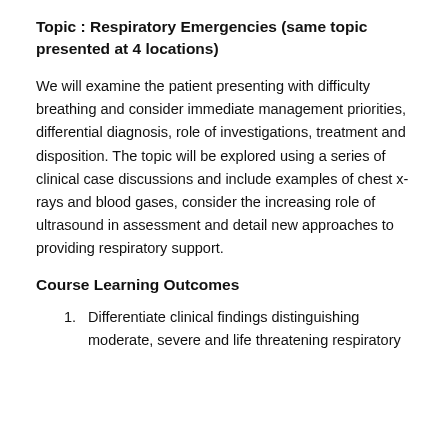Topic : Respiratory Emergencies (same topic presented at 4 locations)
We will examine the patient presenting with difficulty breathing and consider immediate management priorities, differential diagnosis, role of investigations, treatment and disposition. The topic will be explored using a series of clinical case discussions and include examples of chest x-rays and blood gases, consider the increasing role of ultrasound in assessment and detail new approaches to providing respiratory support.
Course Learning Outcomes
Differentiate clinical findings distinguishing moderate, severe and life threatening respiratory